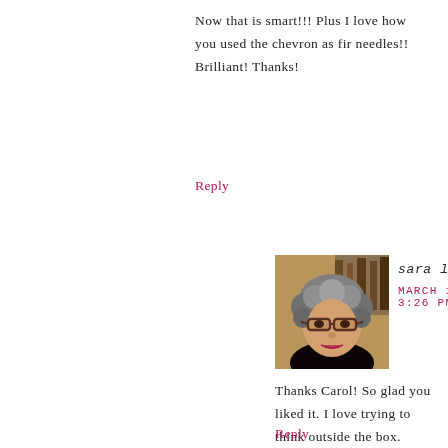Now that is smart!!! Plus I love how you used the chevron as fir needles!! Brilliant! Thanks!
Reply
[Figure (photo): Profile photo of sara levin, a woman with curly grey and dark hair wearing glasses, smiling]
sara levin says
MARCH 19, 2014 AT 3:26 PM
Thanks Carol! So glad you liked it. I love trying to think outside the box.
Reply